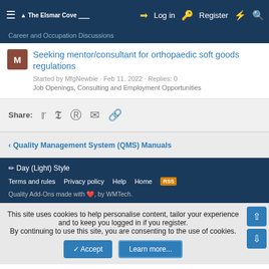≡  The Elsmar Cove   Log in   Register   ⚡  🔍
Career and Occupation Discussions
Seeking mentor/consultant for orthopaedic soft goods regulations
Started by MfgNewbie · Feb 11, 2022 · Replies: 0
Job Openings, Consulting and Employment Opportunities
Share:
‹ Quality Management System (QMS) Manuals
✏ Day (Light) Style
Terms and rules   Privacy policy   Help   Home   RSS
Quality Add-Ons made with ♥, by WMTech.
This site uses cookies to help personalise content, tailor your experience and to keep you logged in if you register. By continuing to use this site, you are consenting to the use of cookies.
Accept   Learn more...